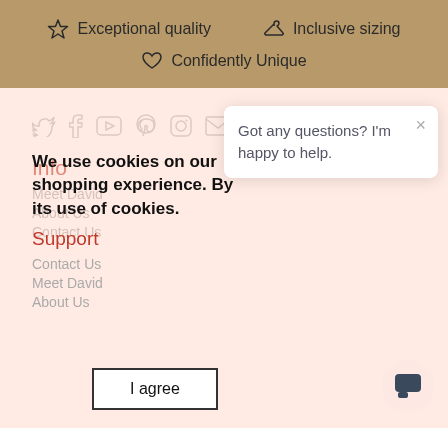[Figure (infographic): Tan/brown header bar with three brand value icons and text: star icon 'Exceptional quality', hanger icon 'Inclusive sizing', heart icon 'Confidently Unique']
[Figure (infographic): Row of social media icons: Twitter, Facebook, YouTube, Pinterest, Instagram, Email (all grey outlines)]
Info
Meet David
About Us
Contact Us
Support
Contact Us
Meet David
About Us
We use cookies on our shopping experience. By its use of cookies.
I agree
Got any questions? I'm happy to help.